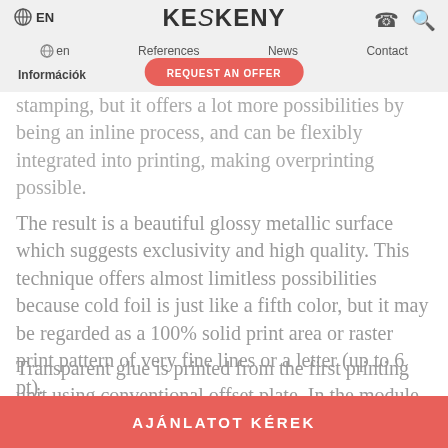EN | KESKENY | en | Our company | References | News | Contact | REQUEST AN OFFER | Információk
stamping, but it offers a lot more possibilities by being an inline process, and can be flexibly integrated into printing, making overprinting possible.
The result is a beautiful glossy metallic surface which suggests exclusivity and high quality. This technique offers almost limitless possibilities because cold foil is just like a fifth color, but it may be regarded as a 100% solid print area or raster print pattern of very fine lines or a letter (up to 6 pt).
Transparent glue is printed from the first printing unit using conventional offset plate. In the module built on the second printing unit, the extremely thin layer of
AJÁNLATOT KÉREK